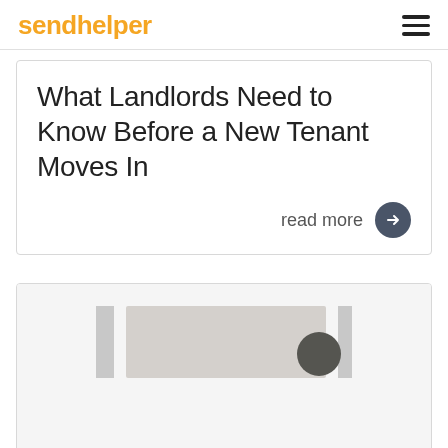sendhelper
What Landlords Need to Know Before a New Tenant Moves In
read more
[Figure (photo): A partially visible interior scene showing shelves or furniture with a person's head visible on the right side, cropped at the bottom of the page.]